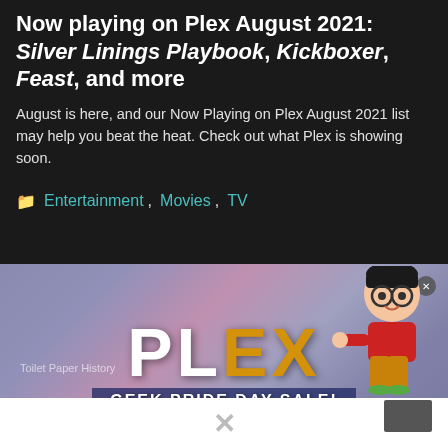Now playing on Plex August 2021: Silver Linings Playbook, Kickboxer, Feast, and more
August is here, and our Now Playing on Plex August 2021 list may help you beat the heat. Check out what Plex is showing soon.
Entertainment, Movies, TV
[Figure (illustration): Advertisement banner for Plex Geek Pride Day Sale featuring the Plex logo in large white and gold letters, a cartoon boy character with glasses pointing, on a blurred purple-blue background. Text reads 'PLEX' and 'GEEK PRIDE DAY SALE!']